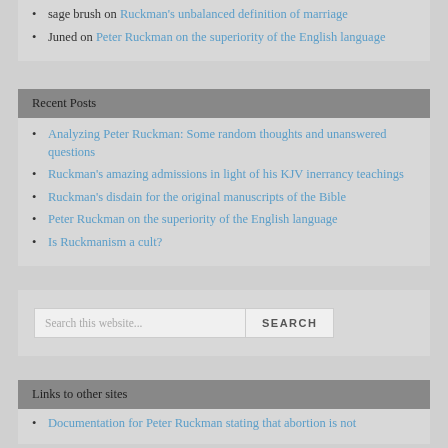sage brush on Ruckman's unbalanced definition of marriage
Juned on Peter Ruckman on the superiority of the English language
Recent Posts
Analyzing Peter Ruckman: Some random thoughts and unanswered questions
Ruckman's amazing admissions in light of his KJV inerrancy teachings
Ruckman's disdain for the original manuscripts of the Bible
Peter Ruckman on the superiority of the English language
Is Ruckmanism a cult?
Links to other sites
Documentation for Peter Ruckman stating that abortion is not